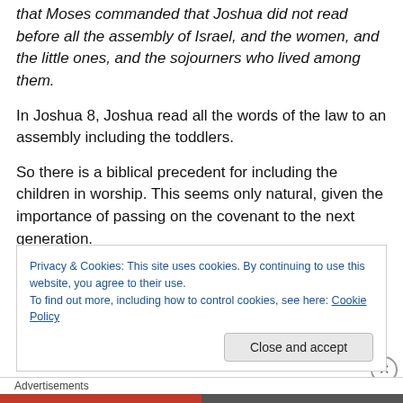that Moses commanded that Joshua did not read before all the assembly of Israel, and the women, and the little ones, and the sojourners who lived among them.
In Joshua 8, Joshua read all the words of the law to an assembly including the toddlers.
So there is a biblical precedent for including the children in worship. This seems only natural, given the importance of passing on the covenant to the next generation.
Mat 19:13-15 Then children were brought to him that he
Privacy & Cookies: This site uses cookies. By continuing to use this website, you agree to their use.
To find out more, including how to control cookies, see here: Cookie Policy
Close and accept
Advertisements